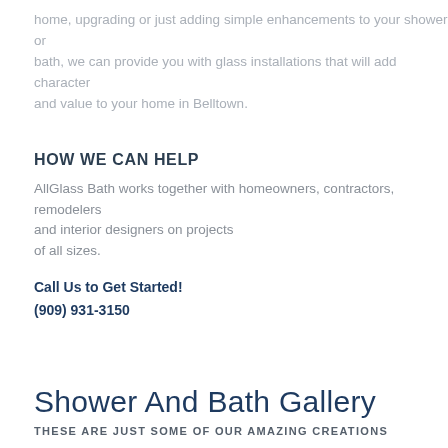home, upgrading or just adding simple enhancements to your shower or bath, we can provide you with glass installations that will add character and value to your home in Belltown.
HOW WE CAN HELP
AllGlass Bath works together with homeowners, contractors, remodelers and interior designers on projects of all sizes.
Call Us to Get Started!
(909) 931-3150
Shower And Bath Gallery
THESE ARE JUST SOME OF OUR AMAZING CREATIONS